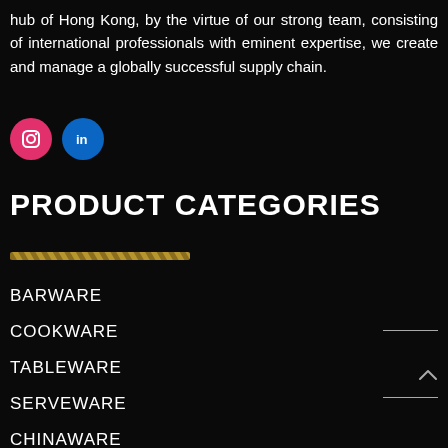hub of Hong Kong, by the virtue of our strong team, consisting of international professionals with eminent expertise, we create and manage a globally successful supply chain.
[Figure (other): Social media icons: Instagram (pink/red circle) and LinkedIn (blue circle)]
PRODUCT CATEGORIES
[Figure (other): Gold decorative diagonal stripe divider line]
BARWARE
COOKWARE
TABLEWARE
SERVEWARE
CHINAWARE
GLASSWARE
HOLLOWARE